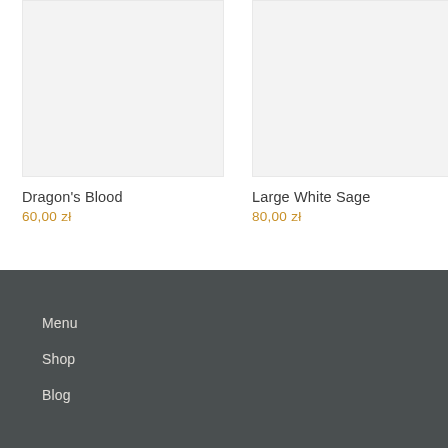[Figure (photo): Product image placeholder for Dragon's Blood, light grey background]
Dragon's Blood
60,00 zł
[Figure (photo): Product image placeholder for Large White Sage, light grey background]
Large White Sage
80,00 zł
Menu
Shop
Blog